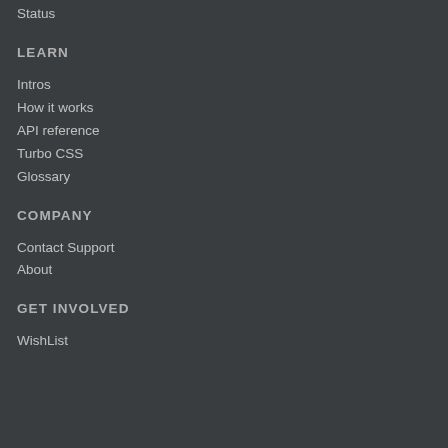Status
LEARN
Intros
How it works
API reference
Turbo CSS
Glossary
COMPANY
Contact Support
About
GET INVOLVED
WishList